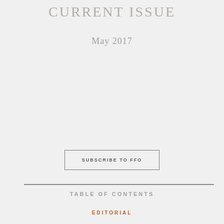CURRENT ISSUE
May 2017
SUBSCRIBE TO FFO
TABLE OF CONTENTS
EDITORIAL